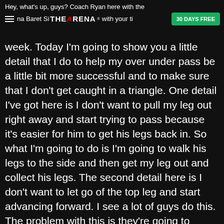Hey, what's up, guys? Coach Ryan here with the Arena Baret Si... THE ARENA with your ti... 30 DAYS FREE
week. Today I'm going to show you a little detail that I do to help my over under pass be a little bit more successful and to make sure that I don't get caught in a triangle. One detail I've got here is I don't want to pull my leg out right away and start trying to pass because it's easier for him to get his legs back in. So what I'm going to do is I'm going to walk his legs to the side and then get my leg out and collect his legs. The second detail here is I don't want to let go of the top leg and start advancing forward. I see a lot of guys do this. The problem with this is they're going to frame on your head and put you in a triangle. Yeah,